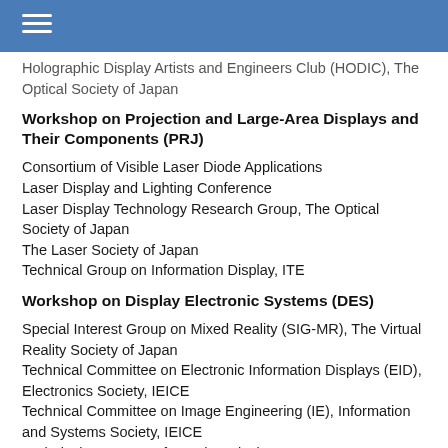Holographic Display Artists and Engineers Club (HODIC), The Optical Society of Japan
Workshop on Projection and Large-Area Displays and Their Components (PRJ)
Consortium of Visible Laser Diode Applications
Laser Display and Lighting Conference
Laser Display Technology Research Group, The Optical Society of Japan
The Laser Society of Japan
Technical Group on Information Display, ITE
Workshop on Display Electronic Systems (DES)
Special Interest Group on Mixed Reality (SIG-MR), The Virtual Reality Society of Japan
Technical Committee on Electronic Information Displays (EID), Electronics Society, IEICE
Technical Committee on Image Engineering (IE), Information and Systems Society, IEICE
Technical Group on Information Display, ITE